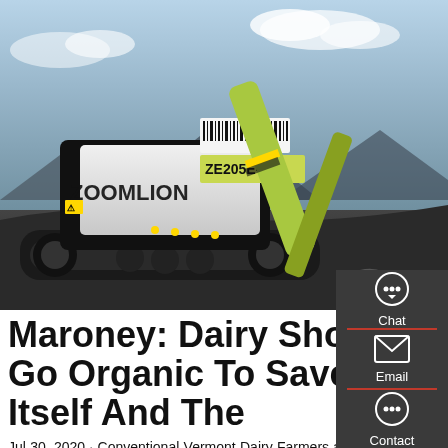[Figure (photo): Photo of a Zoomlion ZE205E-10 excavator, a large yellow-green and black tracked excavator shown against a sky background. The brand name ZOOMLION is visible on the side.]
Maroney: Dairy Should Go Organic To Save Itself And The
Jul 30, 2020 · Conventional Vermont Dairy Farmers are Attempting to Sell what they Produce instead of Producing What They Can Sell! Converting Vermont dairy to organic would be the first step in a state-supported farm reform plan. The second would be to